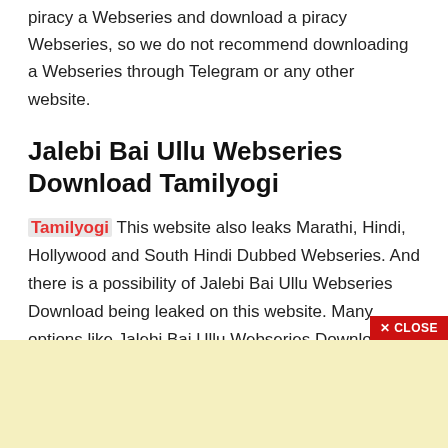piracy a Webseries and download a piracy Webseries, so we do not recommend downloading a Webseries through Telegram or any other website.
Jalebi Bai Ullu Webseries Download Tamilyogi
Tamilyogi This website also leaks Marathi, Hindi, Hollywood and South Hindi Dubbed Webseries. And there is a possibility of Jalebi Bai Ullu Webseries Download being leaked on this website. Many options like Jalebi Bai Ullu Webseries Download 720p, 480p, HD, 1080p, 300Mb are visible on this websit…